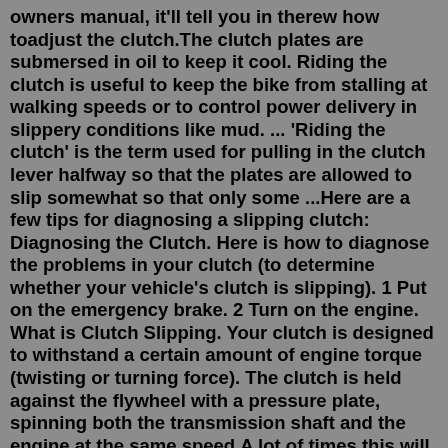owners manual, it'll tell you in therew how toadjust the clutch.The clutch plates are submersed in oil to keep it cool. Riding the clutch is useful to keep the bike from stalling at walking speeds or to control power delivery in slippery conditions like mud. ... 'Riding the clutch' is the term used for pulling in the clutch lever halfway so that the plates are allowed to slip somewhat so that only some ...Here are a few tips for diagnosing a slipping clutch: Diagnosing the Clutch. Here is how to diagnose the problems in your clutch (to determine whether your vehicle's clutch is slipping). 1 Put on the emergency brake. 2 Turn on the engine. What is Clutch Slipping. Your clutch is designed to withstand a certain amount of engine torque (twisting or turning force). The clutch is held against the flywheel with a pressure plate, spinning both the transmission shaft and the engine at the same speed.A lot of times this will leak down and cause the clutch to slip. Or it could just be the clutch you got it under rated for the power 1999.5 Ford F-